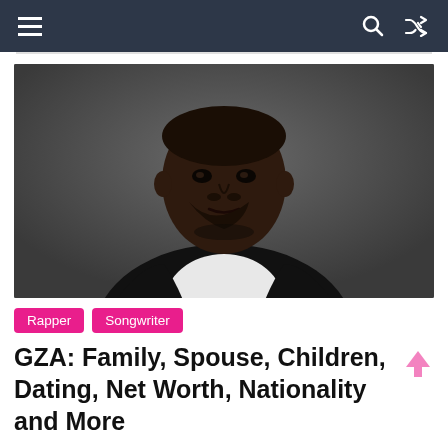Navigation bar with hamburger menu, search and shuffle icons
[Figure (photo): Portrait photo of GZA wearing a white t-shirt under a black leather jacket, against a dark gray background, looking directly at the camera with a serious expression.]
Rapper
Songwriter
GZA: Family, Spouse, Children, Dating, Net Worth, Nationality and More